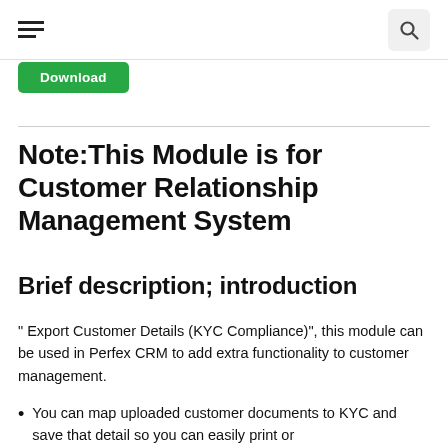☰  [search icon]
Download
Note:This Module is for Customer Relationship Management System
Brief description; introduction
" Export Customer Details (KYC Compliance)", this module can be used in Perfex CRM to add extra functionality to customer management.
You can map uploaded customer documents to KYC and save that detail so you can easily print or